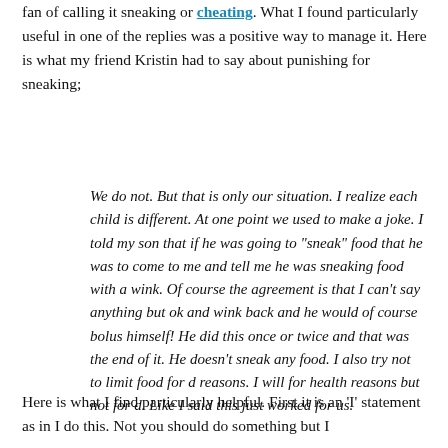fan of calling it sneaking or cheating. What I found particularly useful in one of the replies was a positive way to manage it. Here is what my friend Kristin had to say about punishing for sneaking;
We do not. But that is only our situation. I realize each child is different. At one point we used to make a joke. I told my son that if he was going to "sneak" food that he was to come to me and tell me he was sneaking food with a wink. Of course the agreement is that I can't say anything but ok and wink back and he would of course bolus himself! He did this once or twice and that was the end of it. He doesn't sneak any food. I also try not to limit food for d reasons. I will for health reasons but not for d. Like I said this just worked for us.
Here is what I find particularly helpful. First it is an 'I' statement as in I do this. Not you should do something but I